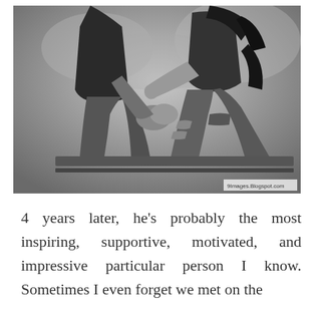[Figure (photo): Black and white photograph of a couple sitting together on a bench, holding hands. The man on the left wears a dark plaid shirt and jeans. The woman on the right wears a sleeveless top and ripped jeans. A watermark reads '9images.Blogspot.com'.]
4 years later, he's probably the most inspiring, supportive, motivated, and impressive particular person I know. Sometimes I even forget we met on the